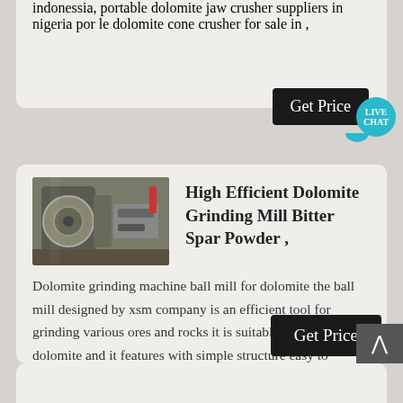indonessia, portable dolomite jaw crusher suppliers in nigeria por le dolomite cone crusher for sale in ,
[Figure (screenshot): Get Price button with Live Chat bubble overlay]
[Figure (photo): Industrial grinding mill machinery photo]
High Efficient Dolomite Grinding Mill Bitter Spar Powder ,
Dolomite grinding machine ball mill for dolomite the ball mill designed by xsm company is an efficient tool for grinding various ores and rocks it is suitable for grinding dolomite and it features with simple structure easy to operate wide range of applications even final products lower maintenance and operating cost and so on Get Details
[Figure (screenshot): Get Price button]
[Figure (other): Back to top arrow button]